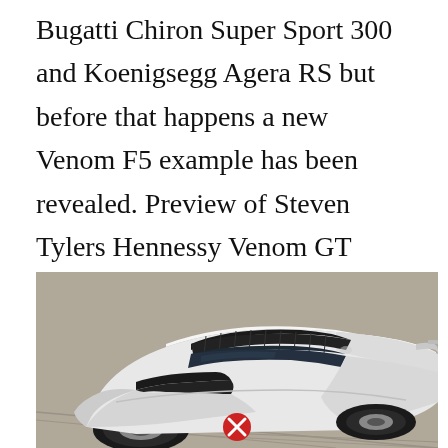Bugatti Chiron Super Sport 300 and Koenigsegg Agera RS but before that happens a new Venom F5 example has been revealed. Preview of Steven Tylers Hennessy Venom GT Spyder and Celebration of Steven TylerOut on a Limb Show to Benefit Janies Fund in Collaboration.
[Figure (photo): A white Hennessy Venom F5 supercar photographed from above-front angle on a grey surface, showing carbon fiber roof panel and dark windshield. A red circle with white X icon is visible on the lower center of the image.]